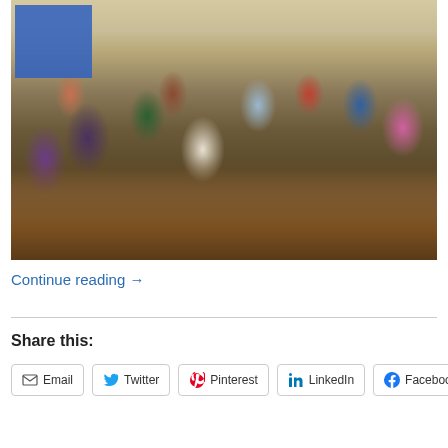[Figure (photo): Group of adults seated around tables in a classroom setting, with educational posters on the walls, books and food items on the tables.]
Continue reading →
Share this:
Email | Twitter | Pinterest | LinkedIn | Facebook